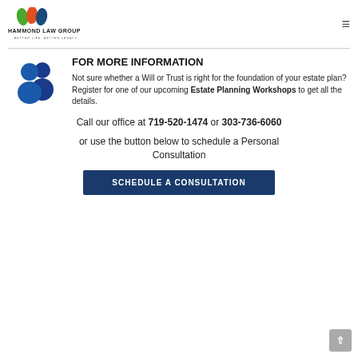Hammond Law Group — Better Life. Better Legacy.
[Figure (logo): Hammond Law Group logo with three colored leaf icons and text 'HAMMOND LAW GROUP — BETTER LIFE. BETTER LEGACY.']
FOR MORE INFORMATION
Not sure whether a Will or Trust is right for the foundation of your estate plan?Register for one of our upcoming Estate Planning Workshops to get all the details.
Call our office at 719-520-1474 or 303-736-6060
or use the button below to schedule a Personal Consultation
SCHEDULE A CONSULTATION